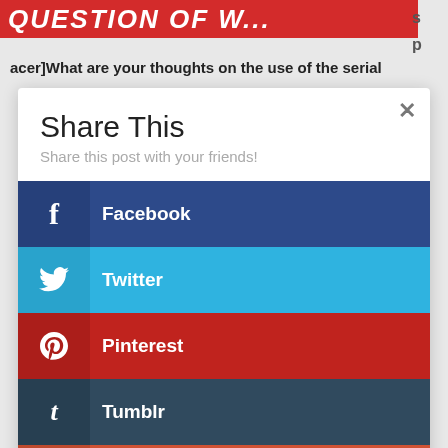[Figure (screenshot): Top banner with 'QUESTION OF W...' text in white italic bold on red background, partially cropped]
acer]What are your thoughts on the use of the serial
[Figure (screenshot): Share This modal dialog with social media share buttons: Facebook, Twitter, Pinterest, Tumblr, Google+, LinkedIn, Buffer]
Share This
Share this post with your friends!
Facebook
Twitter
Pinterest
Tumblr
Google+
LinkedIn
Buffer